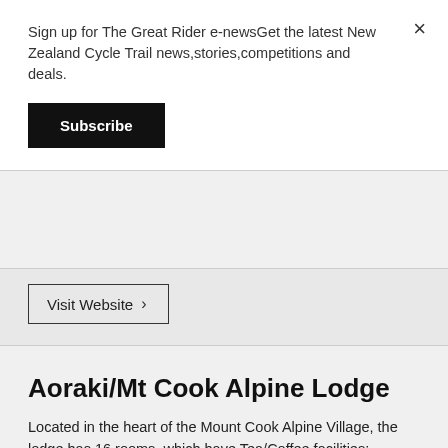Sign up for The Great Rider e-newsGet the latest New Zealand Cycle Trail news,stories,competitions and deals.
Subscribe
×
Visit Website >
Aoraki/Mt Cook Alpine Lodge
Located in the heart of the Mount Cook Alpine Village, the lodge has 16 rooms, which have Tea/Coffee facilities; TV/DVD; limited free wi-fi. Communal kitchen/dining; coin operated laundry/wi-fi also available. Attraction booking and Mountain bike rental services.